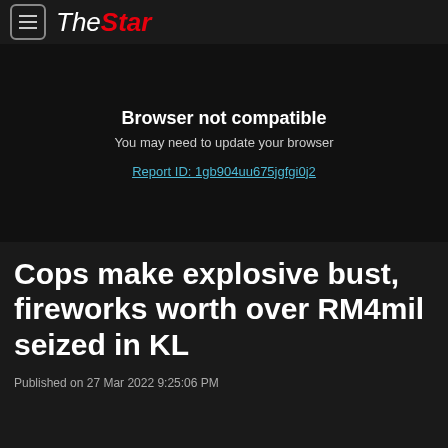The Star
[Figure (screenshot): Dark video player area showing 'Browser not compatible' message with text 'You may need to update your browser' and a link 'Report ID: 1gb904uu675jgfgi0j2']
Cops make explosive bust, fireworks worth over RM4mil seized in KL
Published on 27 Mar 2022 9:25:06 PM